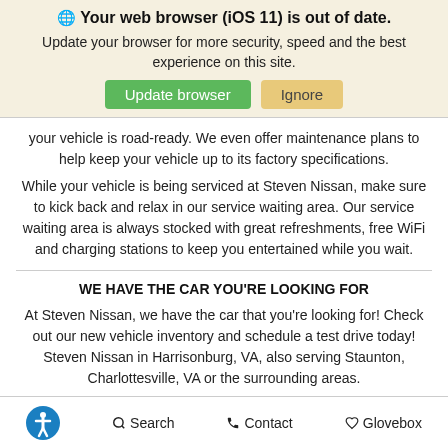🌐 Your web browser (iOS 11) is out of date. Update your browser for more security, speed and the best experience on this site.
[Figure (other): Two buttons: green 'Update browser' and tan 'Ignore']
your vehicle is road-ready. We even offer maintenance plans to help keep your vehicle up to its factory specifications.
While your vehicle is being serviced at Steven Nissan, make sure to kick back and relax in our service waiting area. Our service waiting area is always stocked with great refreshments, free WiFi and charging stations to keep you entertained while you wait.
WE HAVE THE CAR YOU'RE LOOKING FOR
At Steven Nissan, we have the car that you're looking for! Check out our new vehicle inventory and schedule a test drive today! Steven Nissan in Harrisonburg, VA, also serving Staunton, Charlottesville, VA or the surrounding areas.
♿ Search  Contact  Glovebox